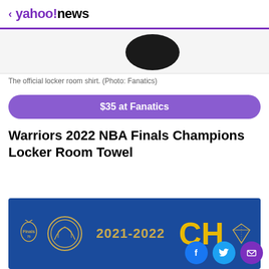< yahoo!news
[Figure (photo): Partial view of a dark circular object (locker room shirt) against white background]
The official locker room shirt. (Photo: Fanatics)
$35 at Fanatics
Warriors 2022 NBA Finals Champions Locker Room Towel
[Figure (photo): Golden State Warriors 2021-2022 NBA Finals Champions locker room towel on blue background with Finals logo, Warriors bridge logo, year 2021-2022, CH text, and diamond logo]
[Figure (other): Social media sharing icons: Facebook (blue circle), Twitter (light blue circle), Email/Mail (purple circle)]